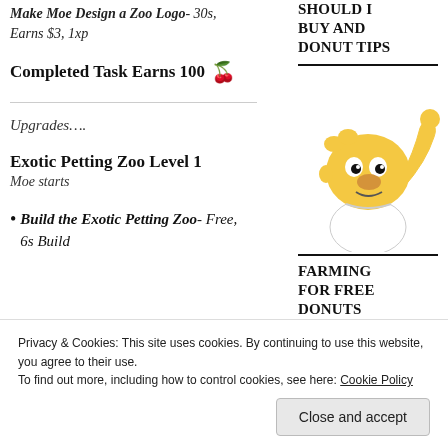Make Moe Design a Zoo Logo- 30s, Earns $3, 1xp
Completed Task Earns 100 🍒
Upgrades….
Exotic Petting Zoo Level 1
Moe starts
Build the Exotic Petting Zoo- Free, 6s Build
SHOULD I BUY AND DONUT TIPS
[Figure (illustration): Homer Simpson cartoon character waving with one hand raised]
FARMING FOR FREE DONUTS
[Figure (screenshot): Game screenshot thumbnail showing colorful game environment]
Privacy & Cookies: This site uses cookies. By continuing to use this website, you agree to their use. To find out more, including how to control cookies, see here: Cookie Policy